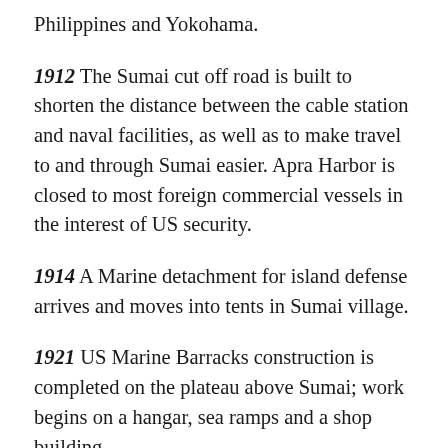Philippines and Yokohama.
1912  The Sumai cut off road is built to shorten the distance between the cable station and naval facilities, as well as to make travel to and through Sumai easier. Apra Harbor is closed to most foreign commercial vessels in the interest of US security.
1914  A Marine detachment for island defense arrives and moves into tents in Sumai village.
1921  US Marine Barracks construction is completed on the plateau above Sumai; work begins on a hangar, sea ramps and a shop building.
1922  Dredged materials from Apra Harbor are...